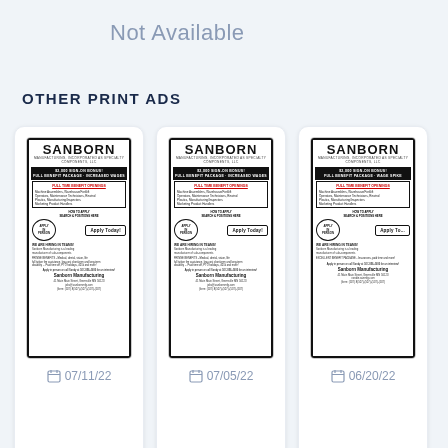Not Available
OTHER PRINT ADS
[Figure (screenshot): Sanborn Manufacturing print ad thumbnail dated 07/11/22]
07/11/22
[Figure (screenshot): Sanborn Manufacturing print ad thumbnail dated 07/05/22]
07/05/22
[Figure (screenshot): Sanborn Manufacturing print ad thumbnail dated 06/20/22]
06/20/22